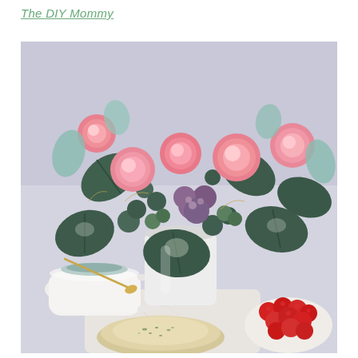The DIY Mommy
[Figure (photo): A floral arrangement with pink roses and eucalyptus leaves in a white vase, surrounded by a ceramic teacup, a marble board with a baked pastry, and a bowl of fresh raspberries on a light purple table.]